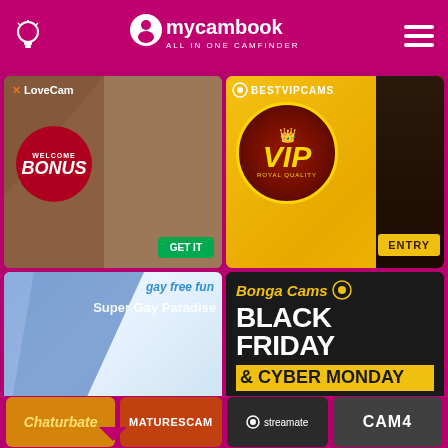mycambook — ALL IN ONE CAMFINDER
[Figure (screenshot): XLoveCam ad with welcome bonus badge and GET IT button]
[Figure (screenshot): BestVIPCams ad with VIP gold circle badge and ENTRY button]
[Figure (screenshot): gay free fun - Super Gay Paradise ad]
[Figure (screenshot): BongaCams Black Friday & Cyber Monday promotional ad]
Chaturbate | MATURESCAM | streamate | CAM4